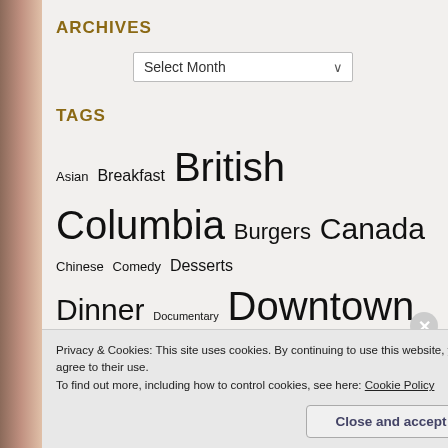ARCHIVES
Select Month (dropdown)
TAGS
Asian  Breakfast  British Columbia  Burgers  Canada  Chinese  Comedy  Desserts  Dinner  Documentary  Downtown Victoria  Gordon Head  Japanese  Late Night  Lunch  North American  Oak Bay  Pub Food  Saanich  Seafood  Seattle  Sidney  Sushi  The Vic
Privacy & Cookies: This site uses cookies. By continuing to use this website, you agree to their use.
To find out more, including how to control cookies, see here: Cookie Policy
Close and accept